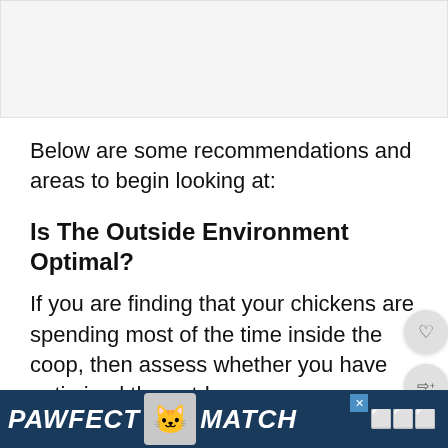[Figure (photo): Image placeholder at top of page, light gray background]
Below are some recommendations and areas to begin looking at:
Is The Outside Environment Optimal?
If you are finding that your chickens are spending most of the time inside the coop, then assess whether you have optimized the outdoor
[Figure (infographic): PAWFECT MATCH advertisement banner at bottom of page with cat logo]